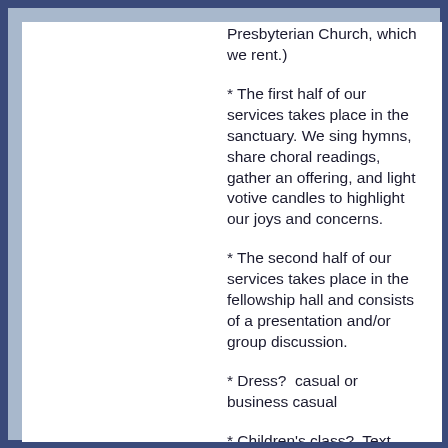Presbyterian Church, which we rent.)
* The first half of our services takes place in the sanctuary. We sing hymns, share choral readings, gather an offering, and light votive candles to highlight our joys and concerns.
* The second half of our services takes place in the fellowship hall and consists of a presentation and/or group discussion.
* Dress?  casual or business casual
* Children's class?  Text me* ahead of time with the ages of your kids
You're invited to join…